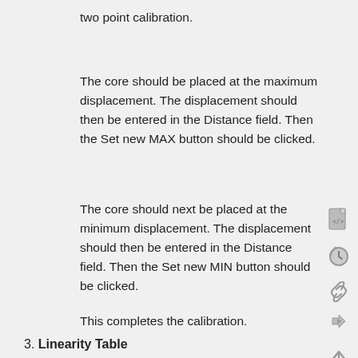two point calibration.
The core should be placed at the maximum displacement. The displacement should then be entered in the Distance field. Then the Set new MAX button should be clicked.
The core should next be placed at the minimum displacement. The displacement should then be entered in the Distance field. Then the Set new MIN button should be clicked.
This completes the calibration.
3. Linearity Table